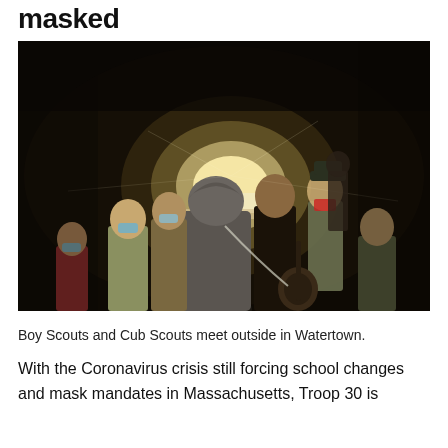masked
[Figure (photo): Group of Boy Scouts and Cub Scouts wearing masks, gathered around a bright light source at night outdoors in Watertown.]
Boy Scouts and Cub Scouts meet outside in Watertown.
With the Coronavirus crisis still forcing school changes and mask mandates in Massachusetts, Troop 30 is